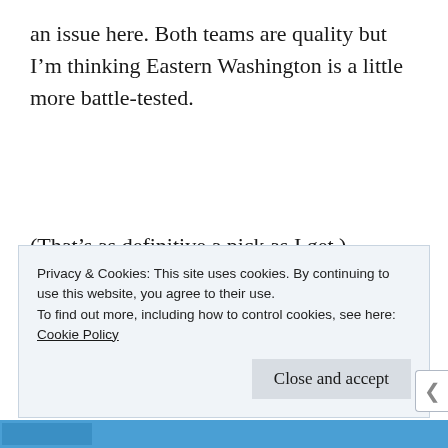an issue here. Both teams are quality but I'm thinking Eastern Washington is a little more battle-tested.
(That's as definitive a pick as I get.)
Bowl advocates who moan about the extra
Privacy & Cookies: This site uses cookies. By continuing to use this website, you agree to their use.
To find out more, including how to control cookies, see here:
Cookie Policy
Close and accept